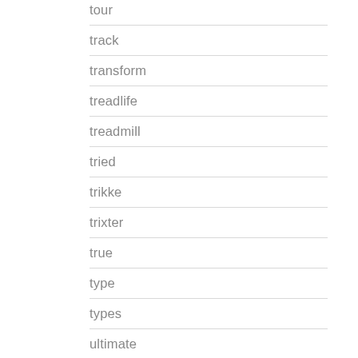tour
track
transform
treadlife
treadmill
tried
trikke
trixter
true
type
types
ultimate